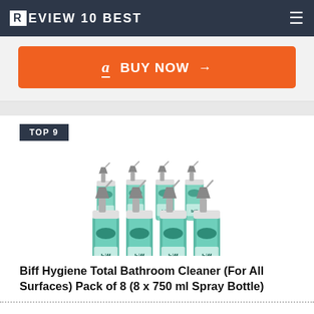REVIEW10BEST
[Figure (other): Orange Amazon BUY NOW button with arrow]
TOP 9
[Figure (photo): Pack of 8 Biff Hygiene Total spray bottles (green and white) arranged in two rows]
Biff Hygiene Total Bathroom Cleaner (For All Surfaces) Pack of 8 (8 x 750 ml Spray Bottle)